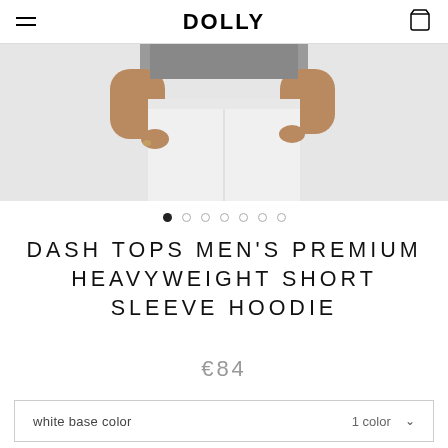DOLLY
[Figure (photo): Product photo showing a person wearing white pants and a short sleeve hoodie, cropped at torso level against a light gray background.]
• (7 carousel navigation dots, first dot active)
DASH TOPS MEN'S PREMIUM HEAVYWEIGHT SHORT SLEEVE HOODIE
€84
white base color    1 color ∨